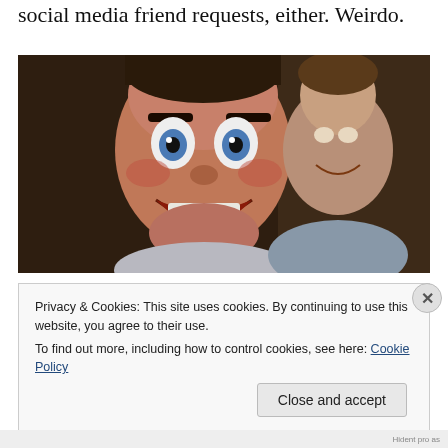social media friend requests, either. Weirdo.
[Figure (photo): A ventriloquist dummy with wide blue eyes and an open-mouthed grin in the foreground, with a man smiling behind it in a dimly lit room.]
Privacy & Cookies: This site uses cookies. By continuing to use this website, you agree to their use.
To find out more, including how to control cookies, see here: Cookie Policy
Close and accept